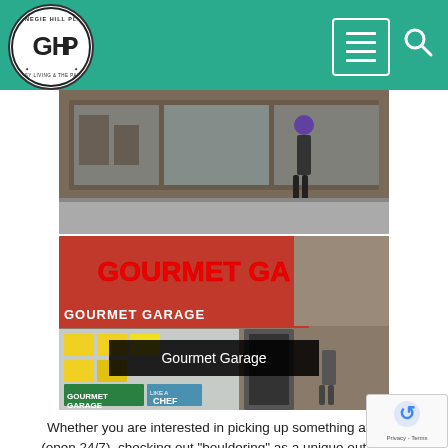Carnegie Hill Place - navigation header with logo and menu/search icons
[Figure (photo): Street scene photo showing a storefront with display windows and a person walking by]
[Figure (photo): Gourmet Garage storefront with large red sign reading GOURMET GARAGE and signage in the windows]
Gourmet Garage
Whether you are interested in picking up something at CVS (open 24/7), checking out "bouldering" as a unique out option (Steep Rock NYC located just outside Carnegie Hill Place lobby entrance), grocery shopping,